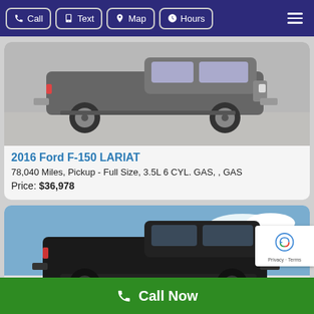Call | Text | Map | Hours
[Figure (photo): Side view of a grey 2016 Ford F-150 LARIAT pickup truck parked on pavement]
2016 Ford F-150 LARIAT
78,040 Miles, Pickup - Full Size, 3.5L 6 CYL. GAS, , GAS
Price: $36,978
[Figure (photo): Side view of a black Ford F-150 pickup truck parked in front of a building]
Call Now